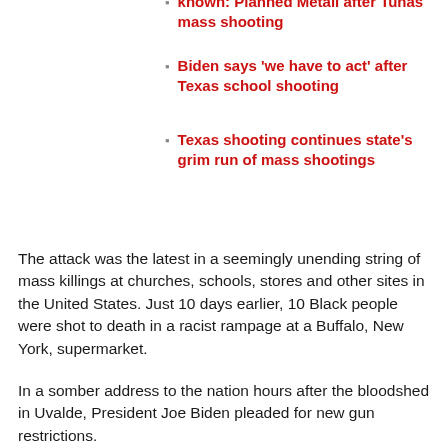known: Planned Metall after Tunas mass shooting
Biden says 'we have to act' after Texas school shooting
Texas shooting continues state's grim run of mass shootings
The attack was the latest in a seemingly unending string of mass killings at churches, schools, stores and other sites in the United States. Just 10 days earlier, 10 Black people were shot to death in a racist rampage at a Buffalo, New York, supermarket.
In a somber address to the nation hours after the bloodshed in Uvalde, President Joe Biden pleaded for new gun restrictions.
“As a nation we have to ask: When in God’s name are we going to stand up to the gun lobby? When in God’s name are we going to do what has to be done?” he asked. “Why are we willing to live with this carnage?”
But the prospects for any reform of the nation’s